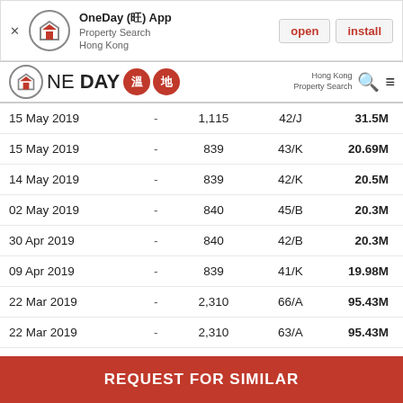[Figure (screenshot): App install banner for OneDay (旺) App - Property Search Hong Kong with open and install buttons]
[Figure (logo): OneDay 溫地 Hong Kong Property Search navigation bar with logo and menu icons]
| Date |  | Area | Unit | Price |
| --- | --- | --- | --- | --- |
| 15 May 2019 | - | 1,115 | 42/J | 31.5M |
| 15 May 2019 | - | 839 | 43/K | 20.69M |
| 14 May 2019 | - | 839 | 42/K | 20.5M |
| 02 May 2019 | - | 840 | 45/B | 20.3M |
| 30 Apr 2019 | - | 840 | 42/B | 20.3M |
| 09 Apr 2019 | - | 839 | 41/K | 19.98M |
| 22 Mar 2019 | - | 2,310 | 66/A | 95.43M |
| 22 Mar 2019 | - | 2,310 | 63/A | 95.43M |
| 01 Mar 2019 | - | 1,180 | 35/F | 41.8M |
| 01 Feb 2019 | - | 1,180 | 35/F | 41.8M |
REQUEST FOR SIMILAR